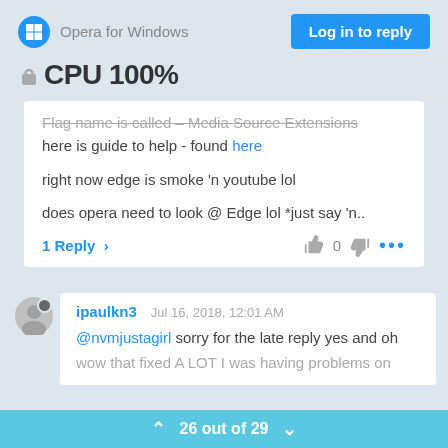🔒CPU 100%
Opera for Windows
Flag name is called – Media Source Extensions here is guide to help - found here
right now edge is smoke 'n youtube lol
does opera need to look @ Edge lol *just say 'n..
1 Reply >   👍 0 👎 ...
ipaulkn3   Jul 16, 2018, 12:01 AM
@nvmjustagirl sorry for the late reply yes and oh wow that fixed A LOT I was having problems on
⌃ 26 out of 29 ⌄